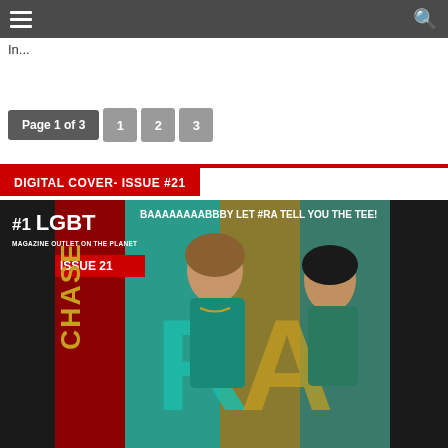≡  🔍
In...
Page 1 of 3   1   2   3
DIGITAL COVER- ISSUE #21
[Figure (photo): Magazine cover for RA #1 LGBT Magazine Outlet on the Planet, Issue 21, featuring two women (one in teal dress), with text 'BAAAAAAAABBBY LET #RA TELL YOU THE TEE!', and vertical side text 'CHASE' and 'INSIDE']